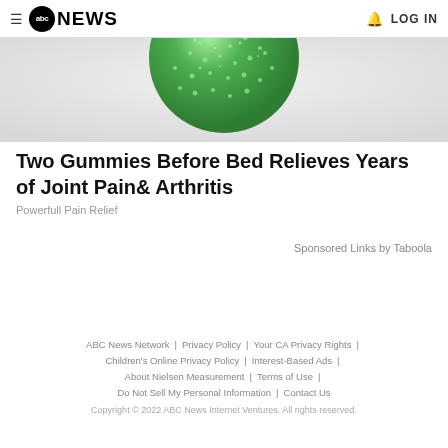abc NEWS  LOG IN
[Figure (photo): Close-up photo of a green sugar-coated gummy ball/candy on a light background]
Two Gummies Before Bed Relieves Years of Joint Pain& Arthritis
Powerfull Pain Relief
Sponsored Links by Taboola
ABC News Network | Privacy Policy | Your CA Privacy Rights | Children's Online Privacy Policy | Interest-Based Ads | About Nielsen Measurement | Terms of Use | Do Not Sell My Personal Information | Contact Us
Copyright © 2022 ABC News Internet Ventures. All rights reserved.